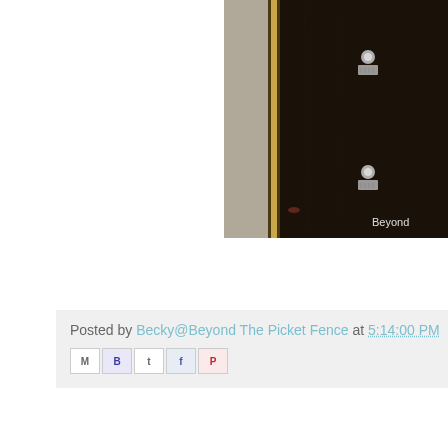[Figure (photo): Partial view of a dark wooden furniture piece (possibly an armoire or wardrobe) with a gold/brass frame visible on the left edge. Two small decorative hardware pieces are visible on the dark surface. A watermark reading 'Beyond' is visible at the bottom right.]
Read more »
Posted by Becky@Beyond The Picket Fence at 5:14:00 PM